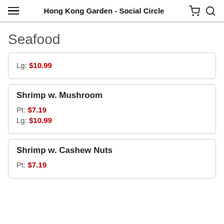Hong Kong Garden - Social Circle
Seafood
Lg: $10.99
Shrimp w. Mushroom
Pt: $7.19
Lg: $10.99
Shrimp w. Cashew Nuts
Pt: $7.19